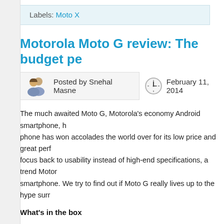Labels: Moto X
Motorola Moto G review: The budget pe...
Posted by Snehal Masne
February 11, 2014
The much awaited Moto G, Motorola's economy Android smartphone, h... phone has won accolades the world over for its low price and great perf... focus back to usability instead of high-end specifications, a trend Motor... smartphone. We try to find out if Moto G really lives up to the hype surr...
What's in the box
Unlike the international version of the Moto G, the Indian version impo... a headset. It doesn't include a USB cable so you'll need to buy one to... these, you'll find the user manual and a warranty-related document. Th...